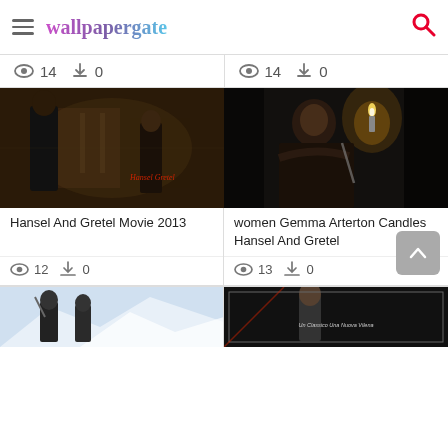wallpapergate
👁 14  ⬇ 0   👁 14  ⬇ 0
[Figure (photo): Movie scene from Hansel And Gretel 2013, two characters in dark tavern setting with 'Hansel Gretel' text overlay]
Hansel And Gretel Movie 2013
👁 12  ⬇ 0
[Figure (photo): Woman (Gemma Arterton) holding a candle in dim lighting, from Hansel And Gretel movie]
women Gemma Arterton Candles Hansel And Gretel
👁 13  ⬇ 0
[Figure (photo): Hansel And Gretel movie poster with two characters in snowy mountain setting]
[Figure (photo): Movie poster with man in suit and text 'Un Classico Una Nuova Vilena']